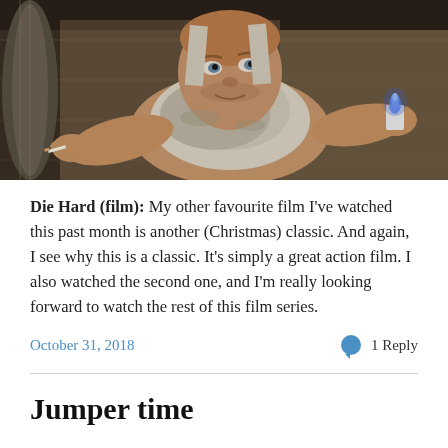[Figure (photo): Movie still from Die Hard showing actor crawling in an air duct, shirtless in a white tank top, looking forward with a lighter in hand]
Die Hard (film): My other favourite film I've watched this past month is another (Christmas) classic. And again, I see why this is a classic. It's simply a great action film. I also watched the second one, and I'm really looking forward to watch the rest of this film series.
October 31, 2018
1 Reply
Jumper time